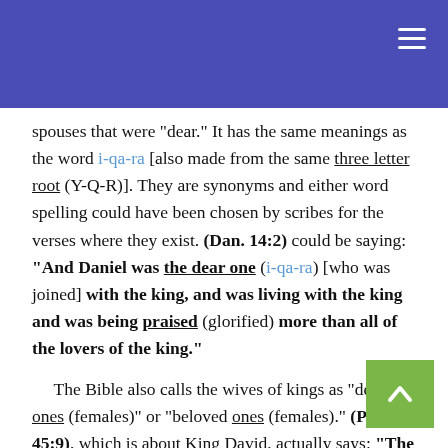spouses that were "dear." It has the same meanings as the word i-qa-ra [also made from the same three letter root (Y-Q-R)]. They are synonyms and either word spelling could have been chosen by scribes for the verses where they exist. (Dan. 14:2) could be saying: "And Daniel was the dear one (i-qa-ra) [who was joined] with the king, and was living with the king and was being praised (glorified) more than all of the lovers of the king." The Bible also calls the wives of kings as "dear ones (females)" or "beloved ones (females)." (Psalm 45:9), which is about King David, actually says: "The daughters of kings are among your dear ones (yiq-qe-roth); the queen [being slept with] (segal) stationed herself at your right hand [at this one's side] and from Ophir" Th...